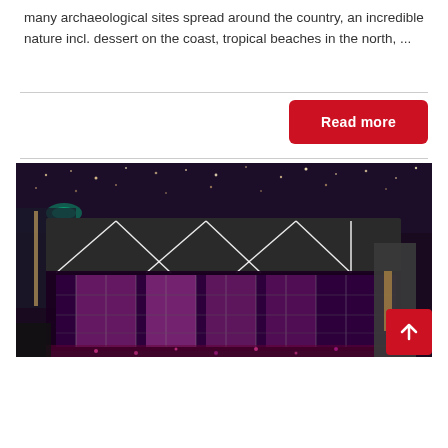many archaeological sites spread around the country, an incredible nature incl. dessert on the coast, tropical beaches in the north, ...
Read more
[Figure (photo): Night aerial photograph of a large modern building with purple interior lighting, geometric white-lit roof framework, surrounded by a busy city street with car lights and city lights in the background.]